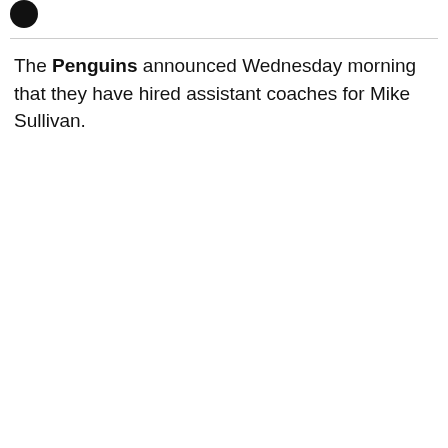[Figure (logo): Circular black avatar/logo icon in the top-left corner]
The Penguins announced Wednesday morning that they have hired assistant coaches for Mike Sullivan.